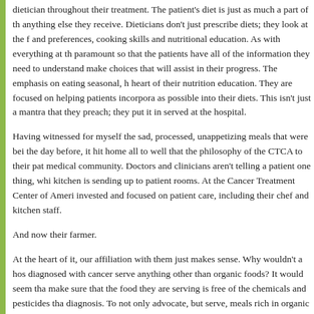dietician throughout their treatment. The patient's diet is just as much a part of the anything else they receive. Dieticians don't just prescribe diets; they look at the f and preferences, cooking skills and nutritional education. As with everything at th paramount so that the patients have all of the information they need to understand make choices that will assist in their progress. The emphasis on eating seasonal, h heart of their nutrition education. They are focused on helping patients incorpora as possible into their diets. This isn't just a mantra that they preach; they put it in served at the hospital.
Having witnessed for myself the sad, processed, unappetizing meals that were bei the day before, it hit home all to well that the philosophy of the CTCA to their pat medical community. Doctors and clinicians aren't telling a patient one thing, whi kitchen is sending up to patient rooms. At the Cancer Treatment Center of Ameri invested and focused on patient care, including their chef and kitchen staff.
And now their farmer.
At the heart of it, our affiliation with them just makes sense. Why wouldn't a hos diagnosed with cancer serve anything other than organic foods? It would seem tha make sure that the food they are serving is free of the chemicals and pesticides tha diagnosis. To not only advocate, but serve, meals rich in organic produce with ca be an integral part of every cancer treatment facility. However, the Cancer Treatm